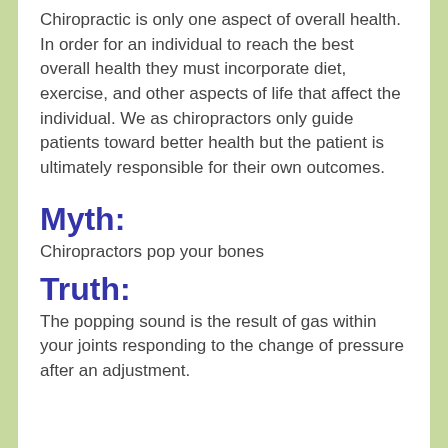Chiropractic is only one aspect of overall health. In order for an individual to reach the best overall health they must incorporate diet, exercise, and other aspects of life that affect the individual. We as chiropractors only guide patients toward better health but the patient is ultimately responsible for their own outcomes.
Myth:
Chiropractors pop your bones
Truth:
The popping sound is the result of gas within your joints responding to the change of pressure after an adjustment.